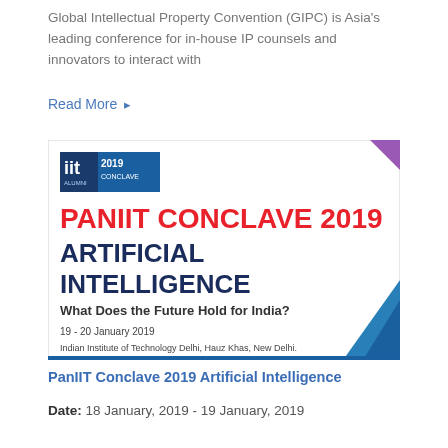Global Intellectual Property Convention (GIPC) is Asia's leading conference for in-house IP counsels and innovators to interact with
Read More →
[Figure (illustration): PanIIT Conclave 2019 Artificial Intelligence event banner. Shows IIT Alumni 2019 Conclave logo, large red text 'PANIIT CONCLAVE 2019', dark blue text 'ARTIFICIAL INTELLIGENCE', subtitle 'What Does the Future Hold for India?', date '19 - 20 January 2019', venue 'Indian Institute of Technology Delhi, Hauz Khas, New Delhi.' with decorative blue/purple triangular shapes.]
PanIIT Conclave 2019 Artificial Intelligence
Date: 18 January, 2019 - 19 January, 2019